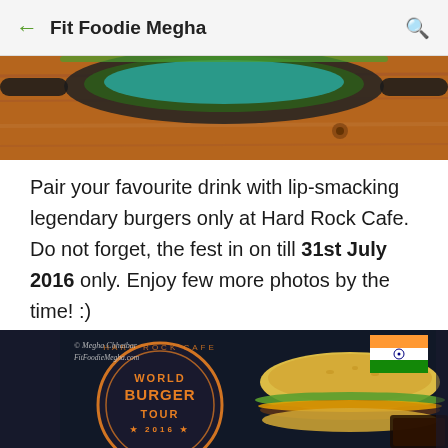Fit Foodie Megha
[Figure (photo): Top portion of a food/drink photo showing a dark cast iron pan with teal/green liquid on a wooden surface]
Pair your favourite drink with lip-smacking legendary burgers only at Hard Rock Cafe. Do not forget, the fest in on till 31st July 2016 only. Enjoy few more photos by the time! :)
[Figure (photo): Photo of a World Burger Tour 2016 Hard Rock Cafe menu/placemat with a burger and Indian flag visible, watermarked with Megha Chhatbar / FitFoodieMegha.com]